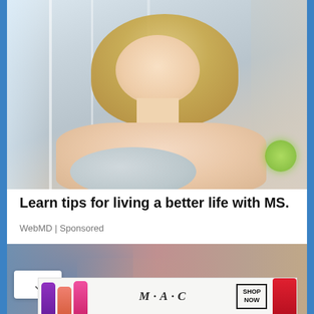[Figure (photo): Woman with blonde hair wearing a light pink/peach sweater, sitting relaxed with eyes closed near a window, natural light background]
Learn tips for living a better life with MS.
WebMD | Sponsored
[Figure (photo): Partial second advertisement image, blurred background showing hands or body]
[Figure (photo): MAC Cosmetics advertisement banner showing colorful lipsticks (purple, coral, pink, hot pink, red) with MAC logo and SHOP NOW button]